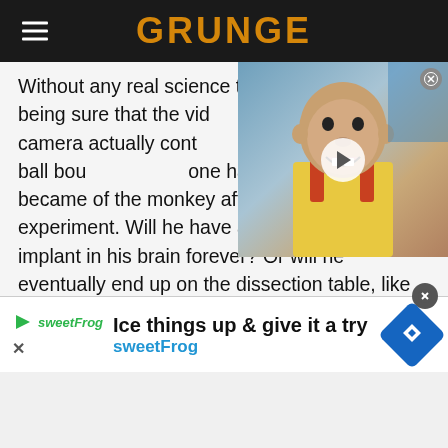GRUNGE
Without any real science to back it up, there's really no way of being sure that the video of what Musk off camera actually controlled anything. The monkey watched the ball bounce around but no one has really said what became of the monkey after this whole weird experiment. Will he have a pong-playing implant in his brain forever? Or will he eventually end up on the dissection table, like so many other lab animals before him? Ultimately, though, it's a monkey playing Pong with its brain so whatever.
[Figure (screenshot): Video thumbnail showing a person's face with a play button overlay]
Ice things up & give it a try
sweetFrog